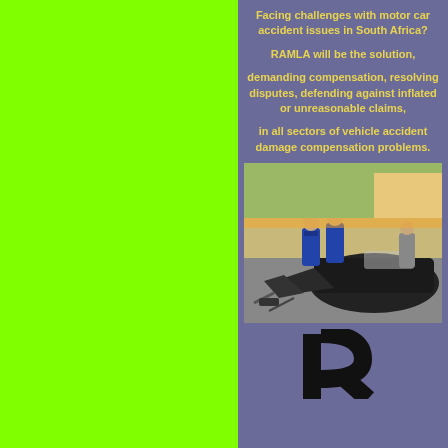[Figure (illustration): Large bright green/yellow-green rectangular panel occupying the left side of the page]
Facing challenges with motor car accident issues in South Africa?
RAMLA will be the solution,
demanding compensation, resolving disputes, defending against inflated or unreasonable claims,
in all sectors of vehicle accident damage compensation problems.
[Figure (photo): Photo of a severely wrecked/crashed car with emergency responders (police/investigators) in blue uniforms inspecting the scene]
[Figure (logo): Partial view of a large letter R logo at the bottom of the right panel]